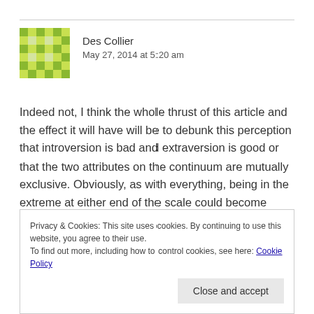[Figure (illustration): Green pixelated/diamond-pattern avatar icon for user Des Collier]
Des Collier
May 27, 2014 at 5:20 am
Indeed not, I think the whole thrust of this article and the effect it will have will be to debunk this perception that introversion is bad and extraversion is good or that the two attributes on the continuum are mutually exclusive. Obviously, as with everything, being in the extreme at either end of the scale could become pathological, but generally people vacillate between the two depending on a number of factors such as the
Privacy & Cookies: This site uses cookies. By continuing to use this website, you agree to their use.
To find out more, including how to control cookies, see here: Cookie Policy
Close and accept